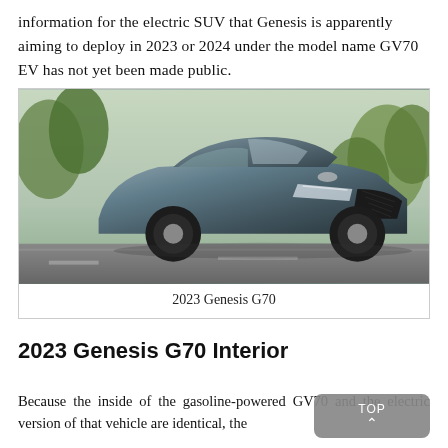information for the electric SUV that Genesis is apparently aiming to deploy in 2023 or 2024 under the model name GV70 EV has not yet been made public.
[Figure (photo): A grey 2023 Genesis G70 sedan driving on a road with trees and greenery in the background.]
2023 Genesis G70
2023 Genesis G70 Interior
Because the inside of the gasoline-powered GV70 and the electric version of that vehicle are identical, the